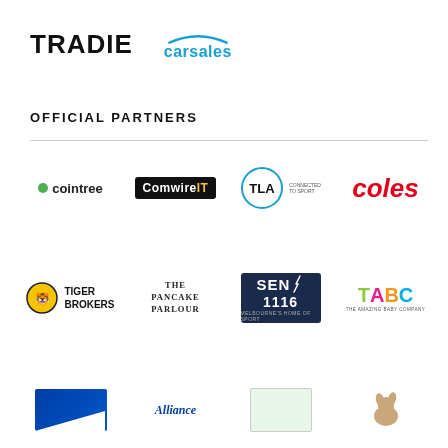[Figure (logo): TRADIE logo in bold black uppercase text]
[Figure (logo): carsales logo with blue arc over text]
OFFICIAL PARTNERS
[Figure (logo): cointree logo with green dot]
[Figure (logo): ComwireIT logo white on black box with yellow IT]
[Figure (logo): TLA Worldwide logo in circle]
[Figure (logo): coles logo in red italic]
[Figure (logo): Tiger Brokers logo with yellow circle icon]
[Figure (logo): The Pancake Parlour logo]
[Figure (logo): SEN 1116 radio logo on dark blue background]
[Figure (logo): TABC The Amazing Baby Company logo]
[Figure (logo): Partial blue logo at bottom left]
[Figure (logo): Alliance text logo partial]
[Figure (logo): Partial green logo]
[Figure (logo): Dog silhouette partial logo]